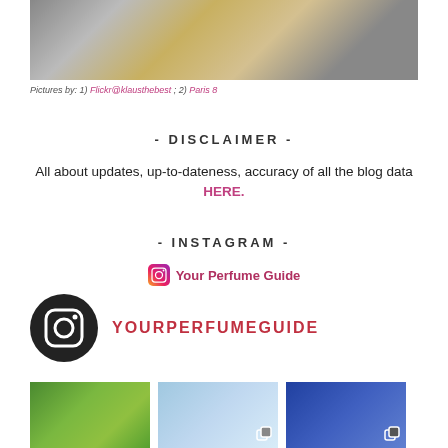[Figure (photo): Interior of a luxury perfume or department store with warm wooden floors and illuminated display cases]
Pictures by: 1) Flickr@klausthebest ; 2) Paris 8
- DISCLAIMER -
All about updates, up-to-dateness, accuracy of all the blog data HERE.
- INSTAGRAM -
Your Perfume Guide
[Figure (logo): Instagram logo circle with YOURPERFUMEGUIDE username]
[Figure (photo): Three Instagram thumbnail images: green foliage, blue sky, two people at an event]